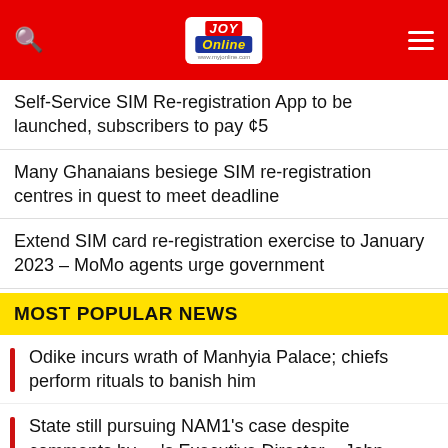JOY Online
Self-Service SIM Re-registration App to be launched, subscribers to pay ¢5
Many Ghanaians besiege SIM re-registration centres in quest to meet deadline
Extend SIM card re-registration exercise to January 2023 – MoMo agents urge government
MOST POPULAR NEWS
Odike incurs wrath of Manhyia Palace; chiefs perform rituals to banish him
State still pursuing NAM1's case despite comments by 's Executive Director – John Kumah
'I do not know where they got their PhDs from' – Awingobit fires government officials over economic downturn